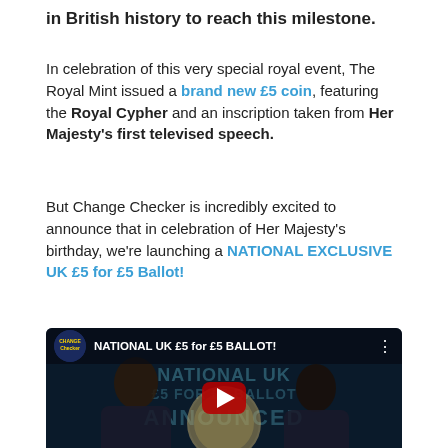in British history to reach this milestone.
In celebration of this very special royal event, The Royal Mint issued a brand new £5 coin, featuring the Royal Cypher and an inscription taken from Her Majesty's first televised speech.
But Change Checker is incredibly excited to announce that in celebration of Her Majesty's birthday, we're launching a NATIONAL EXCLUSIVE UK £5 for £5 Ballot!
[Figure (screenshot): YouTube video thumbnail showing two women in dark shirts labeled CREW, with a large coin in the center and a YouTube play button overlay. Text overlay reads 'NATIONAL UK £5 for £5 BALLOT!' with 'ANNOUNCED' below. Change Checker channel logo visible in top bar.]